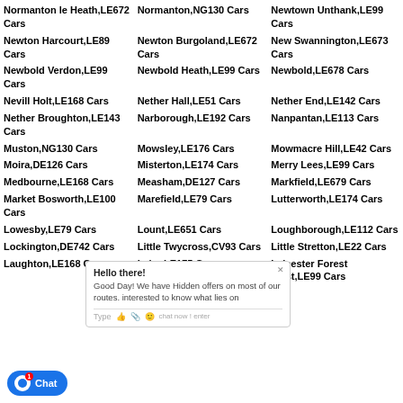Normanton le Heath,LE672 Cars
Normanton,NG130 Cars
Newtown Unthank,LE99 Cars
Newton Harcourt,LE89 Cars
Newton Burgoland,LE672 Cars
New Swannington,LE673 Cars
Newbold Verdon,LE99 Cars
Newbold Heath,LE99 Cars
Newbold,LE678 Cars
Nevill Holt,LE168 Cars
Nether Hall,LE51 Cars
Nether End,LE142 Cars
Nether Broughton,LE143 Cars
Narborough,LE192 Cars
Nanpantan,LE113 Cars
Muston,NG130 Cars
Mowsley,LE176 Cars
Mowmacre Hill,LE42 Cars
Moira,DE126 Cars
Misterton,LE174 Cars
Merry Lees,LE99 Cars
Medbourne,LE168 Cars
Measham,DE127 Cars
Markfield,LE679 Cars
Market Bosworth,LE100 Cars
Marefield,LE79 Cars
Lutterworth,LE174 Cars
Lowesby,LE79 Cars
Lount,LE651 Cars
Loughborough,LE112 Cars
Lockington,DE742 Cars
Little Twycross,CV93 Cars
Little Stretton,LE22 Cars
Laughton,LE168 Cars
Leire,LE175 Cars
Leicester Forest West,LE99 Cars